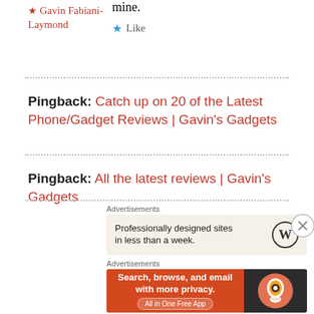mine.
★ Gavin Fabiani-Laymond
★ Like
Pingback: Catch up on 20 of the Latest Phone/Gadget Reviews | Gavin's Gadgets
Pingback: All the latest reviews | Gavin's Gadgets
Advertisements
[Figure (infographic): WordPress advertisement: Professionally designed sites in less than a week, with WordPress logo]
Advertisements
[Figure (infographic): DuckDuckGo advertisement: Search, browse, and email with more privacy. All in One Free App]